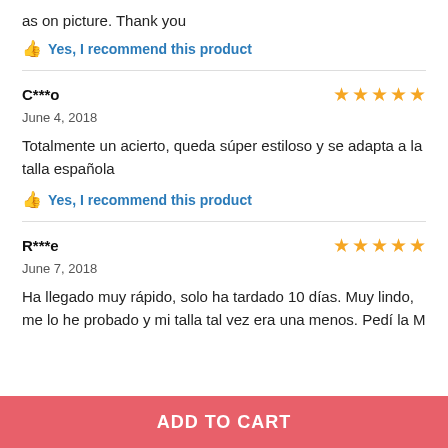as on picture. Thank you
Yes, I recommend this product
C***o
June 4, 2018
Totalmente un acierto, queda súper estiloso y se adapta a la talla española
Yes, I recommend this product
R***e
June 7, 2018
Ha llegado muy rápido, solo ha tardado 10 días. Muy lindo, me lo he probado y mi talla tal vez era una menos. Pedí la M
ADD TO CART